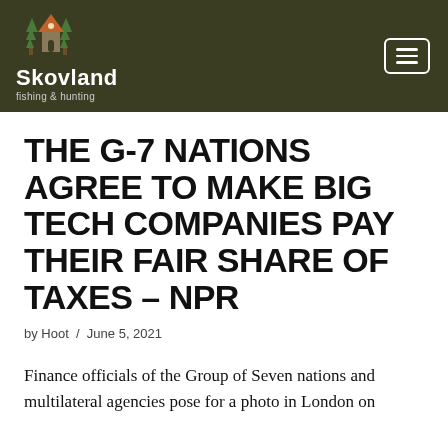Skovland fishing & hunting
THE G-7 NATIONS AGREE TO MAKE BIG TECH COMPANIES PAY THEIR FAIR SHARE OF TAXES – NPR
by Hoot / June 5, 2021
Finance officials of the Group of Seven nations and multilateral agencies pose for a photo in London on